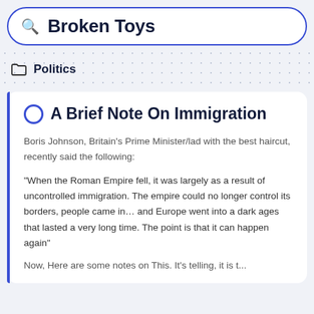Broken Toys
Politics
A Brief Note On Immigration
Boris Johnson, Britain's Prime Minister/lad with the best haircut, recently said the following:
“When the Roman Empire fell, it was largely as a result of uncontrolled immigration. The empire could no longer control its borders, people came in… and Europe went into a dark ages that lasted a very long time. The point is that it can happen again”
Now, Here are some notes on This. It’s telling, it is t...